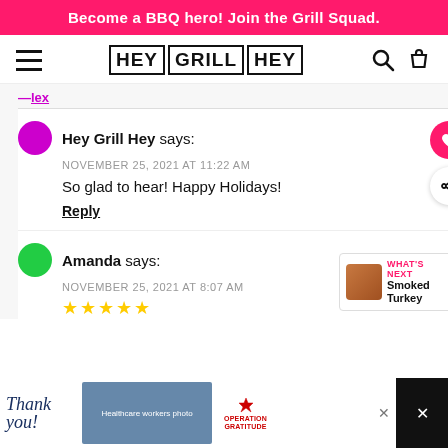Become a BBQ hero! Join the Grill Squad.
[Figure (screenshot): Hey Grill Hey website navigation bar with hamburger menu, logo, search and cart icons]
Hey Grill Hey says:
NOVEMBER 25, 2021 AT 11:22 AM
So glad to hear! Happy Holidays!
Reply
Amanda says:
NOVEMBER 25, 2021 AT 8:07 AM
[Figure (photo): Advertisement banner: Thank you! Operation Gratitude ad with photo of healthcare workers holding packages]